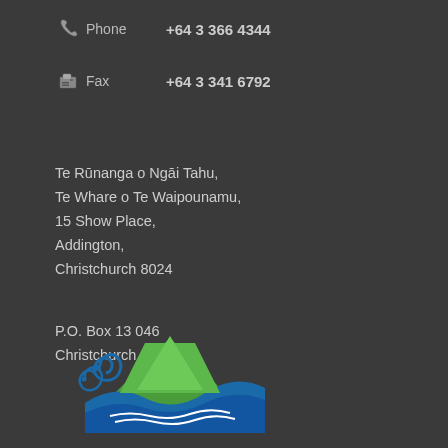Phone  +64 3 366 4344
Fax  +64 3 341 6792
Te Rūnanga o Ngāi Tahu,
Te Whare o Te Waipounamu,
15 Show Place,
Addington,
Christchurch 8024
P.O. Box 13 046
Christchurch 8141
[Figure (logo): Te Rūnanga o Ngāi Tahu logo: stylized green mountain and blue wave with koru spiral, in blue and green colors]